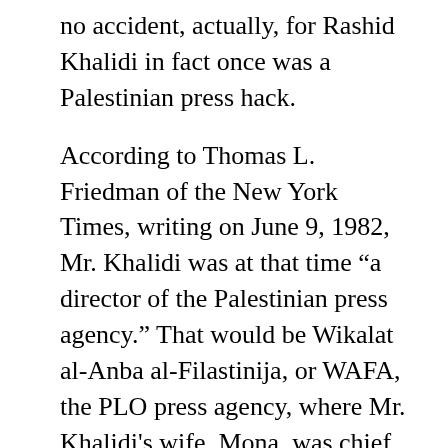no accident, actually, for Rashid Khalidi in fact once was a Palestinian press hack.
According to Thomas L. Friedman of the New York Times, writing on June 9, 1982, Mr. Khalidi was at that time "a director of the Palestinian press agency." That would be Wikalat al-Anba al-Filastinija, or WAFA, the PLO press agency, where Mr. Khalidi's wife, Mona, was chief English-language editor in 1976-82. Mr. Friedman quotes Mr. Khalidi in his official capacity saying that the Israelis are out to "crush the P.L.O."
There is other evidence that Mr. Khalidi worked for the PLO. In a Jan. 6, 1981, article in the Christian Science Monitor, Mr. Khalidi used the word "we" referring to the